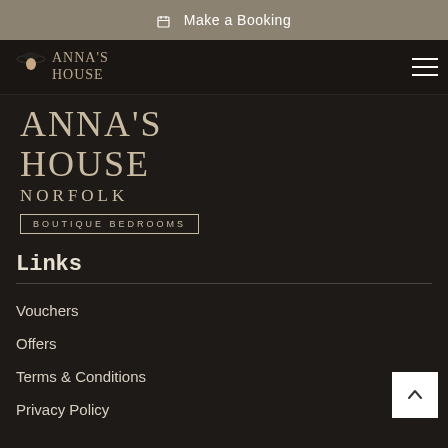Make a Booking
[Figure (logo): Anna's House logo with woman in hat silhouette and text ANNA'S HOUSE in nav bar]
[Figure (logo): Large Anna's House Norfolk Boutique Bedrooms logo text]
Links
Vouchers
Offers
Terms & Conditions
Privacy Policy